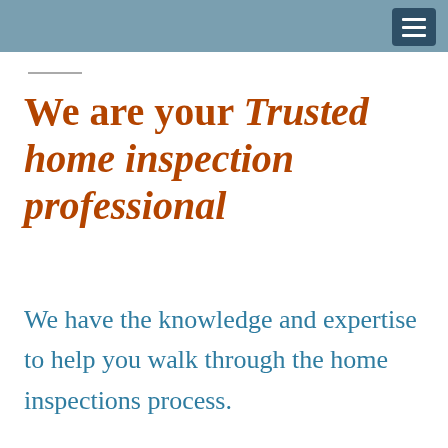We are your Trusted home inspection professional
We have the knowledge and expertise to help you walk through the home inspections process.